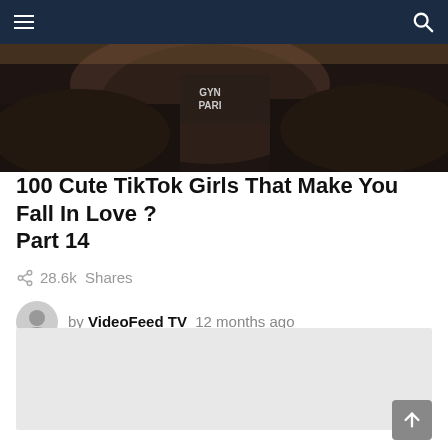Navigation bar with hamburger menu and search icon
[Figure (photo): Close-up photo of person wearing a dark jacket with logo text on it, long dark hair visible, partial face, outdoor background]
100 Cute TikTok Girls That Make You Fall In Love ? Part 14
28.6k Shares
by VideoFeed TV  12 months ago
[Figure (other): Advertisement placeholder (light gray box)]